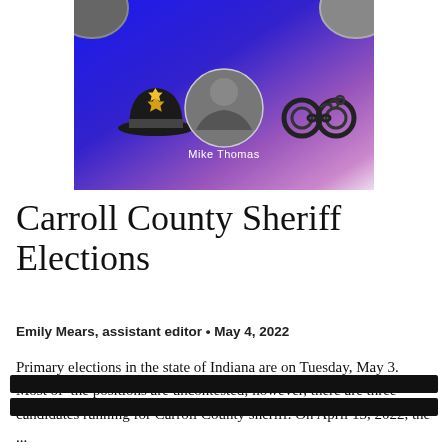[Figure (illustration): Banner image with blue-to-pink gradient background, police officer hat icon on the left, circular photo of Mike Thomas (sheriff in uniform) in the center with name label below, handcuffs icon on the right, and partial circular photos of two other individuals at the top corners.]
Carroll County Sheriff Elections
Emily Mears, assistant editor • May 4, 2022
Primary elections in the state of Indiana are on Tuesday, May 3.  Most of  the positions are uncontested; however, there are three candidates running for Carroll County sheriff. On April 13, 2022, the ...